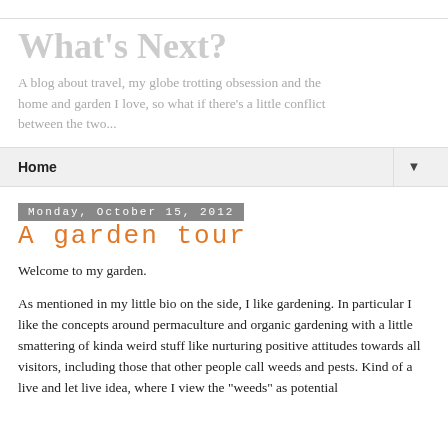What's Next?
A blog about travel, my globe trotting obsession and the home and garden I love, so what if there's a little conflict between the two...
Home
Monday, October 15, 2012
A garden tour
Welcome to my garden.
As mentioned in my little bio on the side, I like gardening. In particular I like the concepts around permaculture and organic gardening with a little smattering of kinda weird stuff like nurturing positive attitudes towards all visitors, including those that other people call weeds and pests. Kind of a live and let live idea, where I view the "weeds" as potential